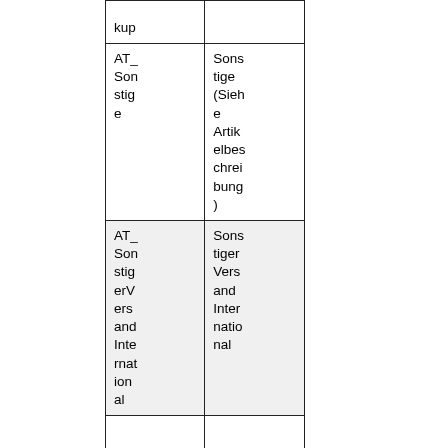| kup |  |
| AT_Sonstige | Sonstige (Siehe Artikelbeschreibung) |
| AT_SonstigerVersandInternational | Sonstiger Versand International |
|  |  |